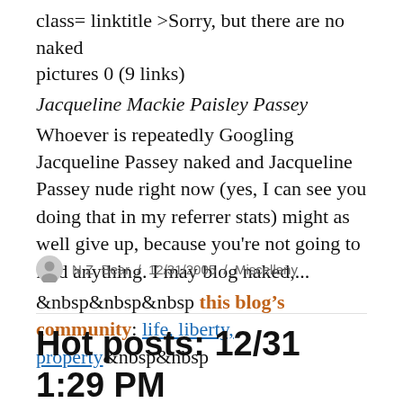class= linktitle >Sorry, but there are no naked pictures 0 (9 links)
Jacqueline Mackie Paisley Passey
Whoever is repeatedly Googling Jacqueline Passey naked and Jacqueline Passey nude right now (yes, I can see you doing that in my referrer stats) might as well give up, because you're not going to find anything. I may blog naked,...
&nbsp&nbsp&nbsp this blog’s community: life, liberty, property&nbsp&nbsp
N.Z. Bear / 12/31/2005 / Miscellany
Hot posts: 12/31 1:29 PM